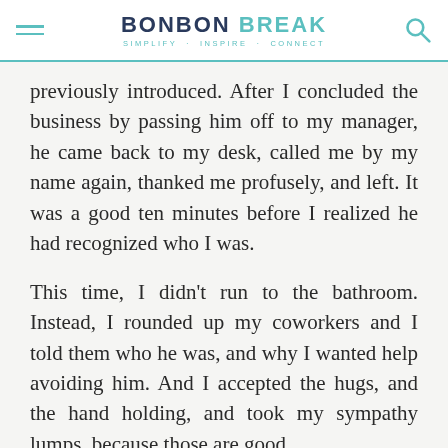BONBON BREAK — SIMPLIFY · INSPIRE · CONNECT
previously introduced. After I concluded the business by passing him off to my manager, he came back to my desk, called me by my name again, thanked me profusely, and left. It was a good ten minutes before I realized he had recognized who I was.
This time, I didn't run to the bathroom. Instead, I rounded up my coworkers and I told them who he was, and why I wanted help avoiding him. And I accepted the hugs, and the hand holding, and took my sympathy lumps, because those are good